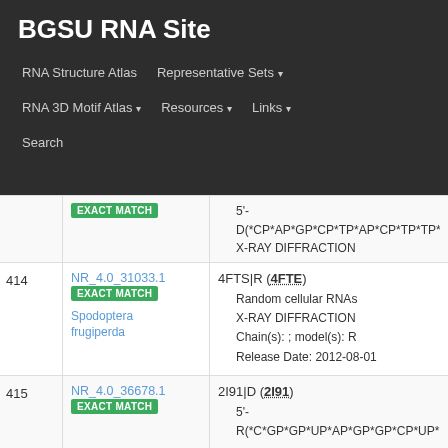BGSU RNA Site
RNA Structure Atlas | Representative Sets | RNA 3D Motif Atlas | Resources | Links | Search
| # | ID | Details |
| --- | --- | --- |
|  | NR_4.0_31033.1 EXACT MATCH Spodoptera frugiperda | 4FTS|R (4FTE)
• Random cellular RNAs
• X-RAY DIFFRACTION
• Chain(s): ; model(s): R
• Release Date: 2012-08-01 |
| 415 | NR_4.0_36678.1 EXACT MATCH | 2I91|D (2I91)
• 5'-
R(*C*GP*GP*UP*AP*GP*GP*CP*UP*UP* |